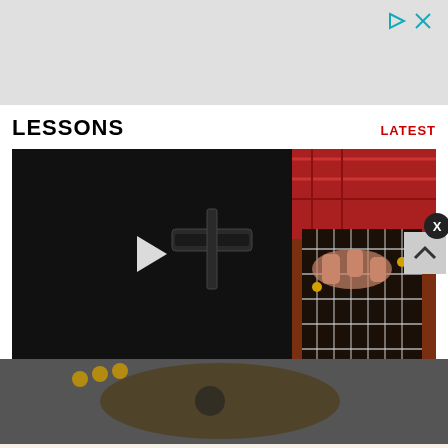[Figure (other): Gray advertisement banner with play and close icons at top right]
LESSONS
LATEST
[Figure (screenshot): Video thumbnail showing a dark background with a guitar slide/bar and a play button overlay]
[Figure (photo): Photo of a hand playing guitar fretboard with a plaid shirt visible]
[Figure (other): Collings Guitars advertisement with acoustic guitar image and TAP FOR CUSTOM GALLERY text]
5 Steps...
How Bach Can Make You a Better Guitarist